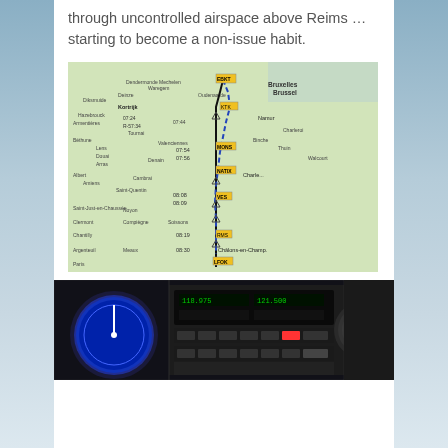through uncontrolled airspace above Reims … starting to become a non-issue habit.
[Figure (map): Aviation route map showing a flight path from Kortrijk/Ghent area in Belgium southward through France toward Chalons-en-Champagne (LFOK), with waypoints marked in yellow, times labeled (07:24, 07:34, 07:44, 07:54, 07:56, 08:08, 08:09, 08:19, 08:30), and a blue dashed line indicating the route through areas including Lille, Valenciennes, Maubeuge, Saint-Quentin, Laon, Reims, and surrounding regions.]
[Figure (photo): Aircraft cockpit interior photo showing instrument panel with radio/navigation equipment, displays, and controls including a round instrument on the left and a knob on the right.]